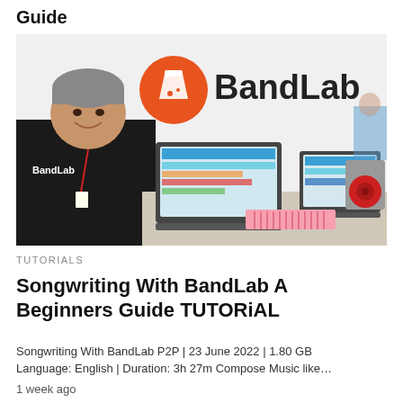Guide
[Figure (photo): A man wearing a BandLab t-shirt smiling at a booth with two laptops open showing BandLab software, a small MIDI keyboard, and audio speakers. A BandLab logo and brand name are visible on the backdrop behind him.]
TUTORIALS
Songwriting With BandLab A Beginners Guide TUTORiAL
Songwriting With BandLab P2P | 23 June 2022 | 1.80 GB Language: English | Duration: 3h 27m Compose Music like…
1 week ago